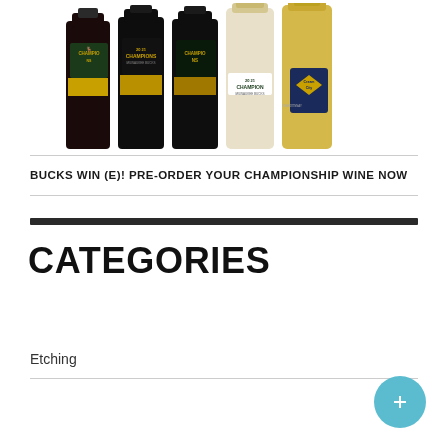[Figure (photo): Five wine bottles with Milwaukee Bucks 2021 NBA Champions labels, including dark red/black bottles with gold CHAMPIONS branding and a light champagne bottle with 'Cream City' label]
BUCKS WIN (E)! PRE-ORDER YOUR CHAMPIONSHIP WINE NOW
CATEGORIES
Etching